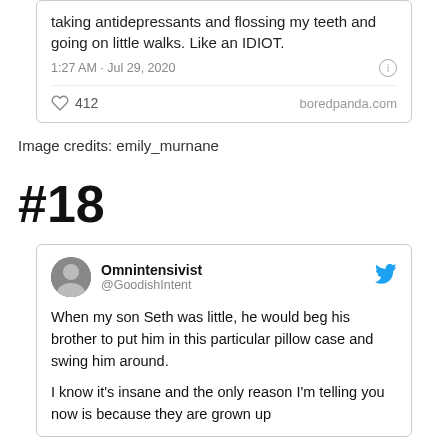[Figure (screenshot): Top portion of a tweet card showing text 'taking antidepressants and flossing my teeth and going on little walks. Like an IDIOT.' with timestamp '1:27 AM · Jul 29, 2020', 412 likes, and source 'boredpanda.com']
Image credits: emily_murnane
#18
[Figure (screenshot): Tweet by Omnintensivist (@GoodishIntent): 'When my son Seth was little, he would beg his brother to put him in this particular pillow case and swing him around. I know it's insane and the only reason I'm telling you now is because they are grown up']